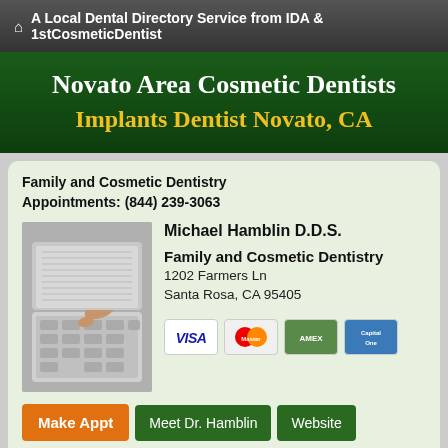A Local Dental Directory Service from IDA & 1stCosmeticDentist
Novato Area Cosmetic Dentists
Implants Dentist Novato, CA
Family and Cosmetic Dentistry
Appointments: (844) 239-3063
[Figure (photo): Hand pressing telephone keypad buttons]
Michael Hamblin D.D.S.
Family and Cosmetic Dentistry
1202 Farmers Ln
Santa Rosa, CA 95405
[Figure (other): Payment method icons: Visa, MasterCard, American Express, Capital One]
Make Appt  Meet Dr. Hamblin  Website
more info..